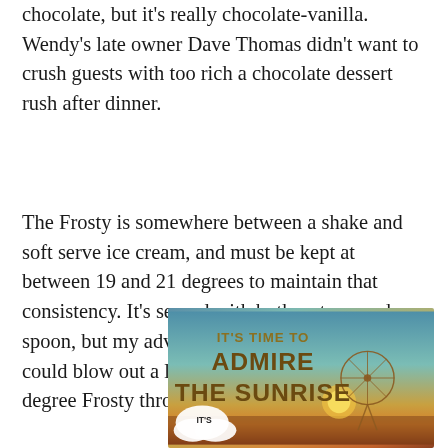chocolate, but it's really chocolate-vanilla. Wendy's late owner Dave Thomas didn't want to crush guests with too rich a chocolate dessert rush after dinner.
The Frosty is somewhere between a shake and soft serve ice cream, and must be kept at between 19 and 21 degrees to maintain that consistency. It's served with both a straw and a spoon, but my advice is use the spoon. You could blow out a lung trying to suck down a 19-degree Frosty through a straw.
[Figure (photo): Advertisement image with text 'IT'S TIME TO ADMIRE THE SUNRISE' overlaid on a sunset/sunrise beach background with a Ferris wheel silhouette, and a cloud badge with 'IT'S' text at the bottom left.]